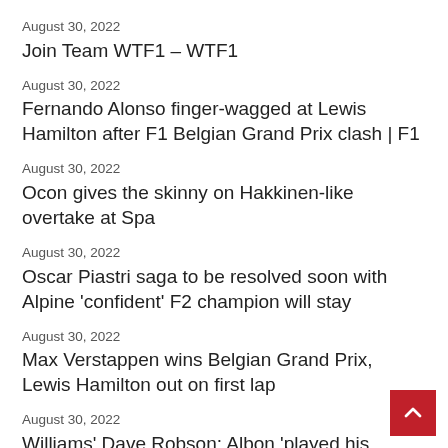August 30, 2022
Join Team WTF1 – WTF1
August 30, 2022
Fernando Alonso finger-wagged at Lewis Hamilton after F1 Belgian Grand Prix clash | F1
August 30, 2022
Ocon gives the skinny on Hakkinen-like overtake at Spa
August 30, 2022
Oscar Piastri saga to be resolved soon with Alpine 'confident' F2 champion will stay
August 30, 2022
Max Verstappen wins Belgian Grand Prix, Lewis Hamilton out on first lap
August 30, 2022
Williams' Dave Robson: Albon 'played his hand without fault' after claiming points finish